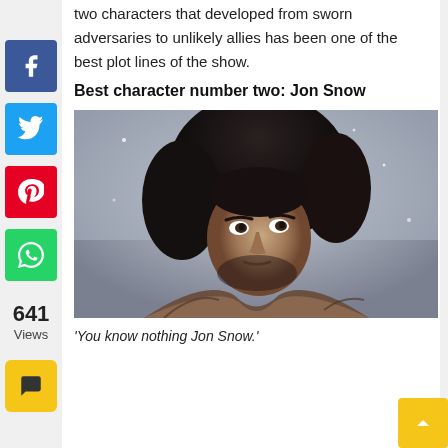two characters that developed from sworn adversaries to unlikely allies has been one of the best plot lines of the show.
Best character number two: Jon Snow
[Figure (photo): Portrait photo of Jon Snow (Kit Harington) from Game of Thrones, wearing fur costume, dark curly hair, brooding expression, wintry background.]
'You know nothing Jon Snow.'